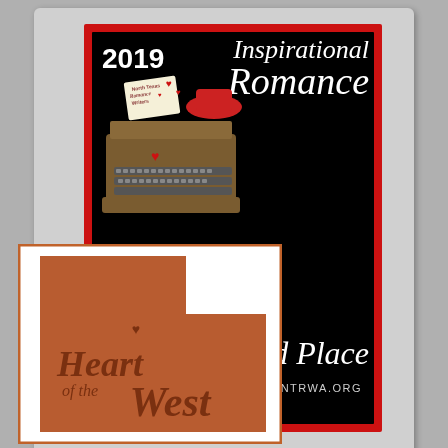[Figure (logo): 2019 North Texas Romance Writers Inspirational Romance Third Place award badge. Black background with red border. Features an illustrated vintage typewriter with hearts and a scroll. Text reads: 2019, Inspirational Romance, Third Place, NTRWA.ORG]
[Figure (logo): Heart of the West contest logo. White background with orange-red border. Features the shape of the state of Utah in terracotta/rust color with a small heart, and the text 'Heart of the West' written in a rustic font across the shape.]